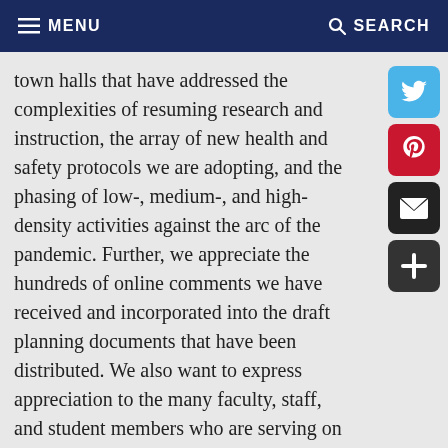MENU  SEARCH
town halls that have addressed the complexities of resuming research and instruction, the array of new health and safety protocols we are adopting, and the phasing of low-, medium-, and high-density activities against the arc of the pandemic. Further, we appreciate the hundreds of online comments we have received and incorporated into the draft planning documents that have been distributed. We also want to express appreciation to the many faculty, staff, and student members who are serving on more than 20 subject-specific planning groups.
Throughout these consultations it has come as no surprise that there is a wide range of expectations, hopes, and fears about our plans for the future, with some members of our community eager to return as soon as possible